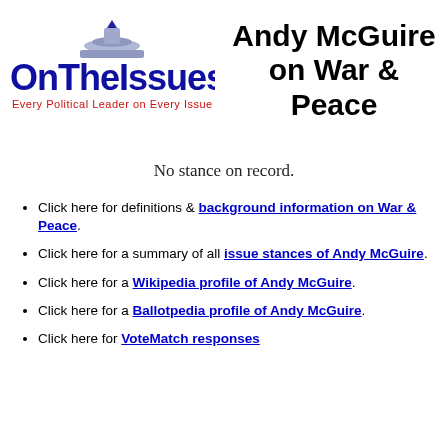[Figure (logo): OnTheIssues logo with capitol dome graphic and tagline 'Every Political Leader on Every Issue']
Andy McGuire on War & Peace
No stance on record.
Click here for definitions & background information on War & Peace.
Click here for a summary of all issue stances of Andy McGuire.
Click here for a Wikipedia profile of Andy McGuire.
Click here for a Ballotpedia profile of Andy McGuire.
Click here for VoteMatch responses